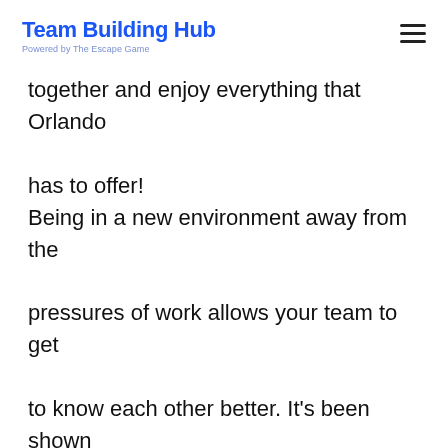Team Building Hub — Powered by The Escape Game
together and enjoy everything that Orlando has to offer!

Being in a new environment away from the pressures of work allows your team to get to know each other better. It's been shown that people who know each other well work better together.